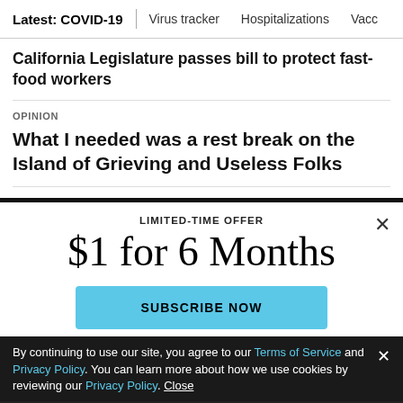Latest: COVID-19  |  Virus tracker  Hospitalizations  Vacc...
California Legislature passes bill to protect fast-food workers
OPINION
What I needed was a rest break on the Island of Grieving and Useless Folks
LIMITED-TIME OFFER
$1 for 6 Months
SUBSCRIBE NOW
By continuing to use our site, you agree to our Terms of Service and Privacy Policy. You can learn more about how we use cookies by reviewing our Privacy Policy. Close